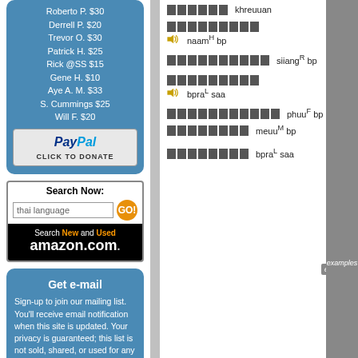Roberto P. $30
Derrell P. $20
Trevor O. $30
Patrick H. $25
Rick @SS $15
Gene H. $10
Aye A. M. $33
S. Cummings $25
Will F. $20
[Figure (logo): PayPal donation button with logo and CLICK TO DONATE text]
[Figure (screenshot): Search box with 'thai language' text, GO button, and Amazon.com Search New and Used banner]
Get e-mail
Sign-up to join our mailing list. You'll receive email notification when this site is updated. Your privacy is guaranteed; this list is not sold, shared, or used for any other purpose. Click here for more information.
To unsubscribe, click here.
Thai script characters with romanization: naamH bp..., siangR bp..., bpraL saa..., phuuF bp..., meuuM bp..., bpraL saa...
examples